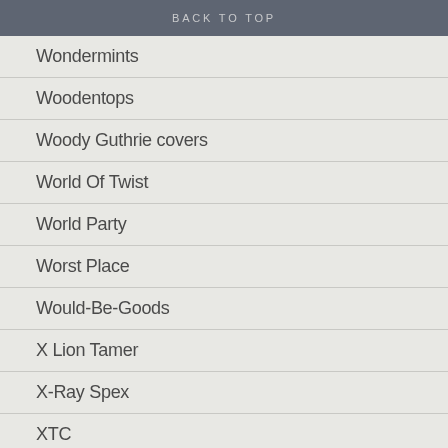BACK TO TOP
Wondermints
Woodentops
Woody Guthrie covers
World Of Twist
World Party
Worst Place
Would-Be-Goods
X Lion Tamer
X-Ray Spex
XTC
Y'All Is Fantasy Island
Yard Act
Yazoo